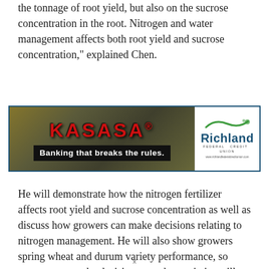the tonnage of root yield, but also on the sucrose concentration in the root. Nitrogen and water management affects both root yield and sucrose concentration," explained Chen.
[Figure (other): Advertisement banner for KASASA banking product and Richland Federal Credit Union. Left side shows KASASA logo in red bold letters on a dark olive/money background with slogan 'Banking that breaks the rules.' Right side shows Richland Federal Credit Union logo with blue wave and text.]
He will demonstrate how the nitrogen fertilizer affects root yield and sucrose concentration as well as discuss how growers can make decisions relating to nitrogen management. He will also show growers spring wheat and durum variety performance, so growers can make decisions on what varieties will grow best on their farms.